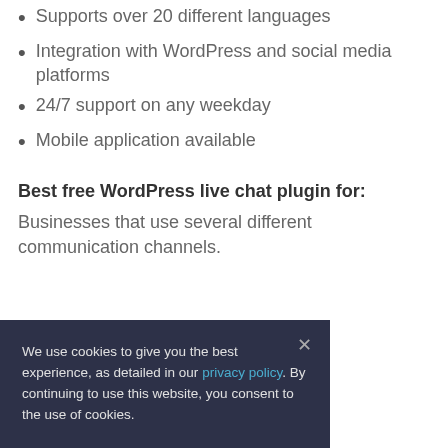Supports over 20 different languages
Integration with WordPress and social media platforms
24/7 support on any weekday
Mobile application available
Best free WordPress live chat plugin for:
Businesses that use several different communication channels.
We use cookies to give you the best experience, as detailed in our privacy policy. By continuing to use this website, you consent to the use of cookies.